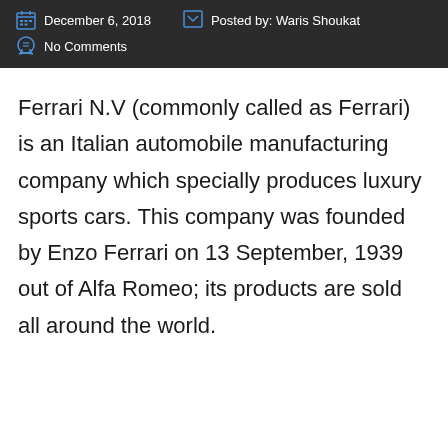December 6, 2018   Posted by: Waris Shoukat   No Comments
Ferrari N.V (commonly called as Ferrari) is an Italian automobile manufacturing company which specially produces luxury sports cars. This company was founded by Enzo Ferrari on 13 September, 1939 out of Alfa Romeo; its products are sold all around the world.